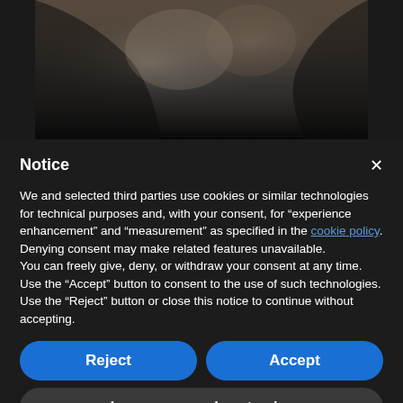[Figure (photo): Dark close-up animal photo (appears to be a rhinoceros or similar large animal) in dramatic low-key lighting]
Notice
We and selected third parties use cookies or similar technologies for technical purposes and, with your consent, for “experience enhancement” and “measurement” as specified in the cookie policy. Denying consent may make related features unavailable.
You can freely give, deny, or withdraw your consent at any time.
Use the “Accept” button to consent to the use of such technologies. Use the “Reject” button or close this notice to continue without accepting.
Reject
Accept
Learn more and customize